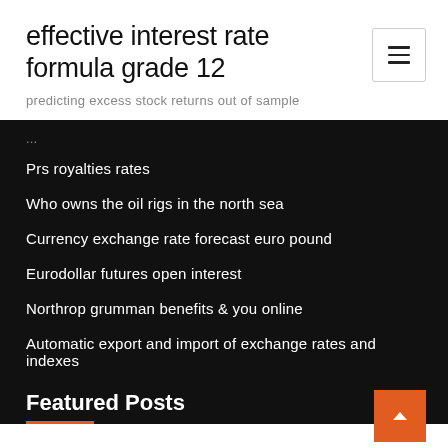effective interest rate formula grade 12
predicting excess stock returns out of sample
Prs royalties rates
Who owns the oil rigs in the north sea
Currency exchange rate forecast euro pound
Eurodollar futures open interest
Northrop grumman benefits & you online
Automatic export and import of exchange rates and indexes
Featured Posts